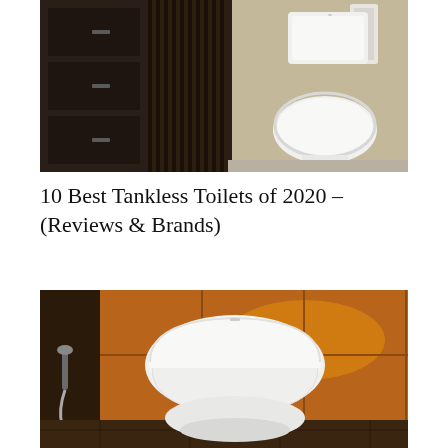[Figure (photo): Bathroom with dark wood vanity cabinet with vertical slatted panel, white tankless toilet against a beige/tan wall, with a white towel hanging on the wall]
10 Best Tankless Toilets of 2020 – (Reviews & Brands)
[Figure (photo): White toilet with closed lid and seat in a bathroom with warm brown/orange wood-paneled walls and dark tile floor, with a handheld bidet sprayer visible on the left]